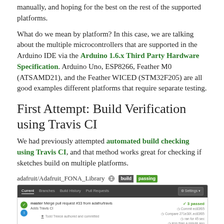manually, and hoping for the best on the rest of the supported platforms.
What do we mean by platform? In this case, we are talking about the multiple microcontrollers that are supported in the Arduino IDE via the Arduino 1.6.x Third Party Hardware Specification. Arduino Uno, ESP8266, Feather M0 (ATSAMD21), and the Feather WICED (STM32F205) are all good examples different platforms that require separate testing.
First Attempt: Build Verification using Travis CI
We had previously attempted automated build checking using Travis CI, and that method works great for checking if sketches build on multiple platforms.
[Figure (screenshot): Travis CI build page for adafruit/Adafruit_FONA_Library showing a passing build with master branch merge pull request, commit info, 3 passed status, and terminal output below.]